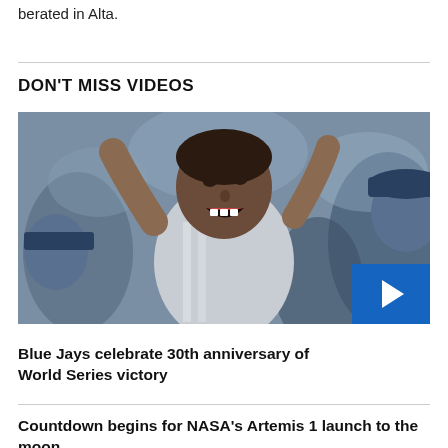berated in Alta.
DON'T MISS VIDEOS
[Figure (photo): A baseball player celebrating with arms raised and mouth open in a joyful expression, surrounded by teammates in blue uniforms.]
Blue Jays celebrate 30th anniversary of World Series victory
Countdown begins for NASA's Artemis 1 launch to the moon